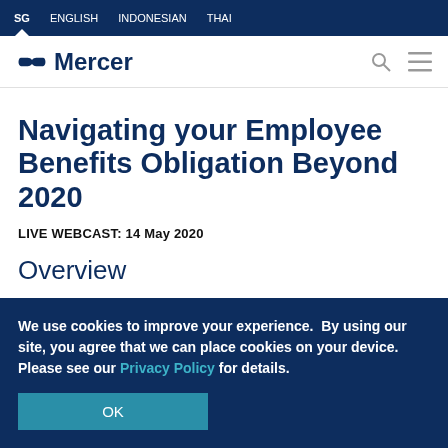SG  ENGLISH  INDONESIAN  THAI
[Figure (logo): Mercer logo with stylized double-arrow icon and wordmark]
Navigating your Employee Benefits Obligation Beyond 2020
LIVE WEBCAST: 14 May 2020
Overview
We use cookies to improve your experience.  By using our site, you agree that we can place cookies on your device. Please see our Privacy Policy for details.
OK